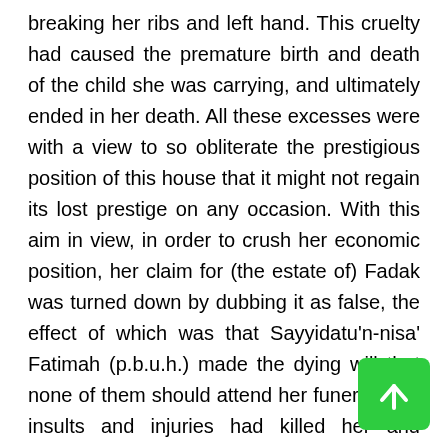breaking her ribs and left hand. This cruelty had caused the premature birth and death of the child she was carrying, and ultimately ended in her death. All these excesses were with a view to so obliterate the prestigious position of this house that it might not regain its lost prestige on any occasion. With this aim in view, in order to crush her economic position, her claim for (the estate of) Fadak was turned down by dubbing it as false, the effect of which was that Sayyidatu'n-nisa' Fatimah (p.b.u.h.) made the dying will that none of them should attend her funeral. The insults and injuries had killed her and Hazrat Ali was helpless against the odds. No words can depict the pain and grief that these words of Hazrat Ali carry in them.
[Figure (other): Green scroll-to-top button with upward arrow icon, positioned in bottom-right corner]